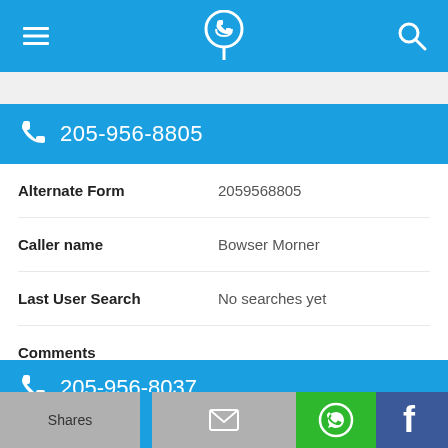Navigation bar with menu, phone locator logo, and search icons
205-956-8805
| Field | Value |
| --- | --- |
| Alternate Form | 2059568805 |
| Caller name | Bowser Morner |
| Last User Search | No searches yet |
| Comments |  |
205-956-8037
Shares | Email | WhatsApp | Facebook